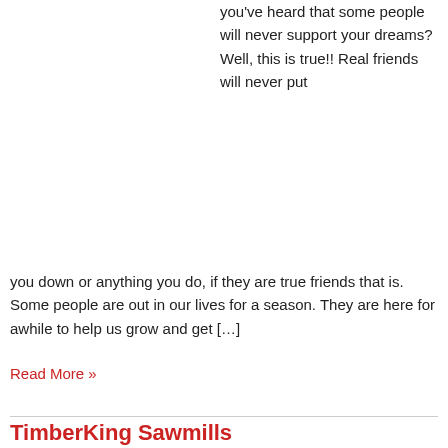you've heard that some people will never support your dreams? Well, this is true!! Real friends will never put you down or anything you do, if they are true friends that is. Some people are out in our lives for a season. They are here for awhile to help us grow and get […]
Read More »
TimberKing Sawmills
July 24, 2022 | No Comments | farm machinery hauling service, Hauling Service,